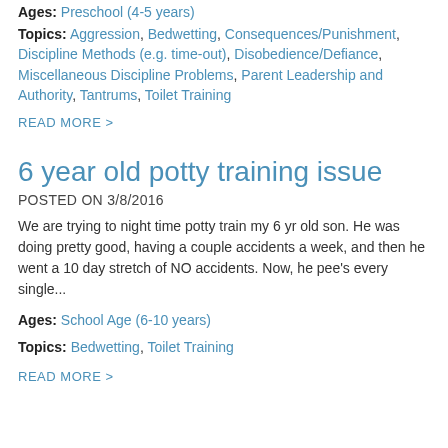Ages: Preschool (4-5 years)
Topics: Aggression, Bedwetting, Consequences/Punishment, Discipline Methods (e.g. time-out), Disobedience/Defiance, Miscellaneous Discipline Problems, Parent Leadership and Authority, Tantrums, Toilet Training
READ MORE >
6 year old potty training issue
POSTED ON 3/8/2016
We are trying to night time potty train my 6 yr old son. He was doing pretty good, having a couple accidents a week, and then he went a 10 day stretch of NO accidents. Now, he pee's every single...
Ages: School Age (6-10 years)
Topics: Bedwetting, Toilet Training
READ MORE >